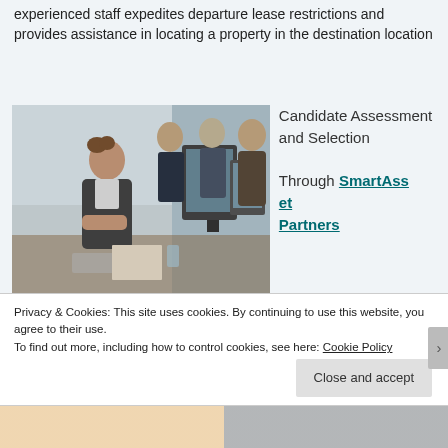experienced staff expedites departure lease restrictions and provides assistance in locating a property in the destination location
[Figure (photo): Office workers, multiple people seated in a row at computers, working in a professional setting]
Candidate Assessment and Selection

Through SmartAsset Partners
Privacy & Cookies: This site uses cookies. By continuing to use this website, you agree to their use.
To find out more, including how to control cookies, see here: Cookie Policy
Close and accept